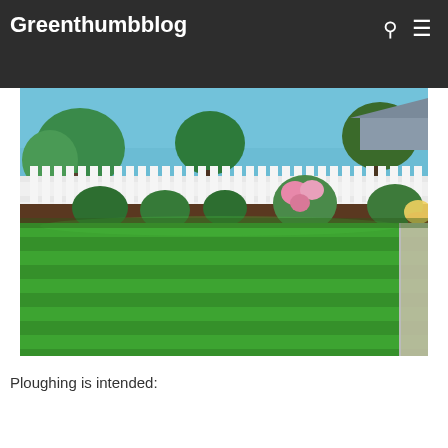Greenthumbblog
[Figure (photo): A well-maintained green lawn in a backyard surrounded by trimmed shrubs, flowering plants, a white picket fence, and trees under a blue sky.]
Ploughing is intended: